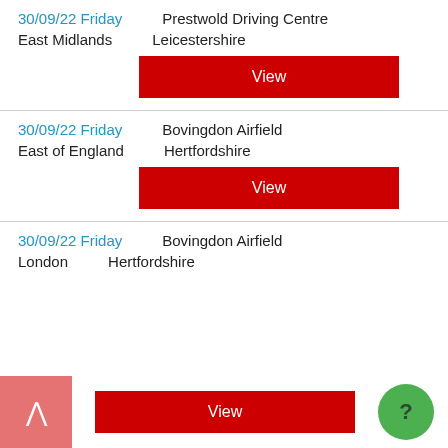30/09/22 Friday
Prestwold Driving Centre
East Midlands
Leicestershire
View
30/09/22 Friday
Bovingdon Airfield
East of England
Hertfordshire
View
30/09/22 Friday
Bovingdon Airfield
London
Hertfordshire
View